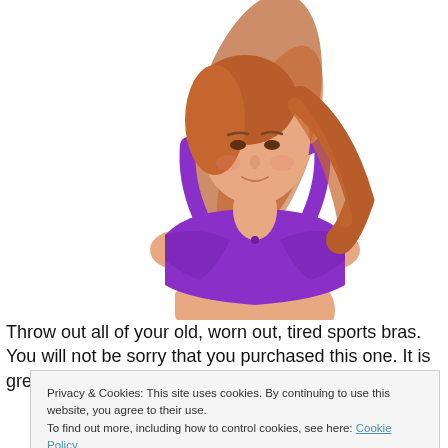[Figure (photo): A woman with reddish-brown hair wearing a purple sports bra, shown from the waist up against a white background.]
Throw out all of your old, worn out, tired sports bras. You will not be sorry that you purchased this one. It is great for
Privacy & Cookies: This site uses cookies. By continuing to use this website, you agree to their use.
To find out more, including how to control cookies, see here: Cookie Policy